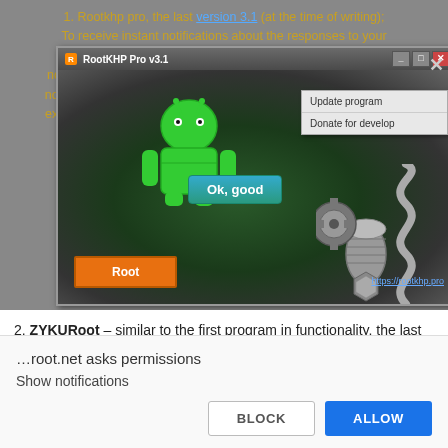1. Rootkhp pro, the last version 3.1 (at the time of writing); To receive instant notifications about the responses to your comment, subscribe to notifications (click to Allow "Show notifications" in the upper left corner). Adblock plugin can locked notifications. We use cookies to ensure that we give you the best experience on our website. If you continue to use this site we will assume that you are happy with it.
[Figure (screenshot): Screenshot of RootKHP Pro v3.1 application window showing an Android robot image with metallic gears and springs, a popup menu with 'Update program' and 'Donate for develop' options, a green 'Ok, good' button, an orange 'Root' button at bottom left, and a URL https://rootkhp.pro at bottom right.]
2. ZYKURoot – similar to the first program in functionality, the last version 2.5 (at the time of writing);
[Figure (screenshot): Browser notification permission dialog showing '...root.net asks permissions', 'Show notifications', with BLOCK and ALLOW buttons.]